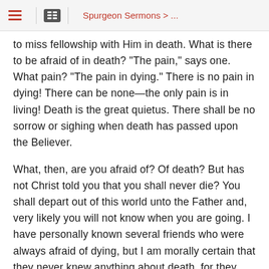Spurgeon Sermons > ...
to miss fellowship with Him in death. What is there to be afraid of in death? "The pain," says one. What pain? "The pain in dying." There is no pain in dying! There can be none—the only pain is in living! Death is the great quietus. There shall be no sorrow or sighing when death has passed upon the Believer.
What, then, are you afraid of? Of death? But has not Christ told you that you shall never die? You shall depart out of this world unto the Father and, very likely you will not know when you are going. I have personally known several friends who were always afraid of dying, but I am morally certain that they never knew anything about death, for they went to bed, one night, apparently in good health, and when they were called in the morning, it was discovered